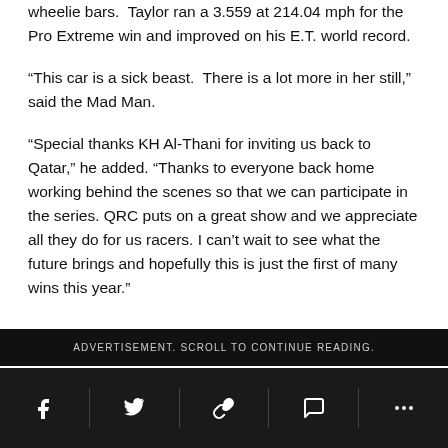wheelie bars.  Taylor ran a 3.559 at 214.04 mph for the Pro Extreme win and improved on his E.T. world record.
“This car is a sick beast.  There is a lot more in her still,” said the Mad Man.
“Special thanks KH Al-Thani for inviting us back to Qatar,” he added. “Thanks to everyone back home working behind the scenes so that we can participate in the series. QRC puts on a great show and we appreciate all they do for us racers. I can’t wait to see what the future brings and hopefully this is just the first of many wins this year.”
ADVERTISEMENT. SCROLL TO CONTINUE READING.